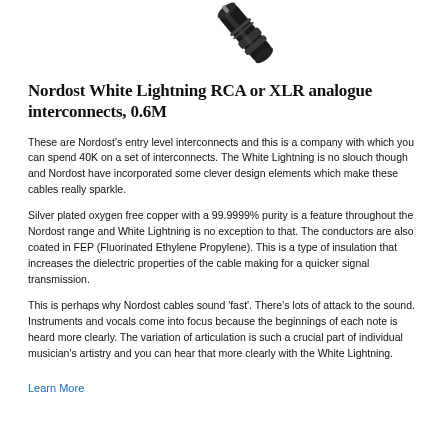[Figure (photo): Partial photo of a Nordost cable connector (XLR or RCA plug) shown at an angle against white background, cropped at top]
Nordost White Lightning RCA or XLR analogue interconnects, 0.6M
These are Nordost's entry level interconnects and this is a company with which you can spend 40K on a set of interconnects. The White Lightning is no slouch though and Nordost have incorporated some clever design elements which make these cables really sparkle.
Silver plated oxygen free copper with a 99.9999% purity is a feature throughout the Nordost range and White Lightning is no exception to that. The conductors are also coated in FEP (Fluorinated Ethylene Propylene). This is a type of insulation that increases the dielectric properties of the cable making for a quicker signal transmission.
This is perhaps why Nordost cables sound 'fast'. There's lots of attack to the sound. Instruments and vocals come into focus because the beginnings of each note is heard more clearly. The variation of articulation is such a crucial part of individual musician's artistry and you can hear that more clearly with the White Lightning.
Learn More